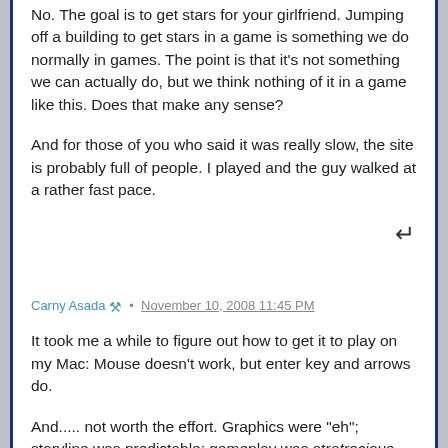No. The goal is to get stars for your girlfriend. Jumping off a building to get stars in a game is something we do normally in games. The point is that it's not something we can actually do, but we think nothing of it in a game like this. Does that make any sense?

And for those of you who said it was really slow, the site is probably full of people. I played and the guy walked at a rather fast pace.
Carny Asada · November 10, 2008 11:45 PM
It took me a while to figure out how to get it to play on my Mac: Mouse doesn't work, but enter key and arrows do.

And..... not worth the effort. Graphics were "eh"; storyline was predictable; gameplay was atrocious.